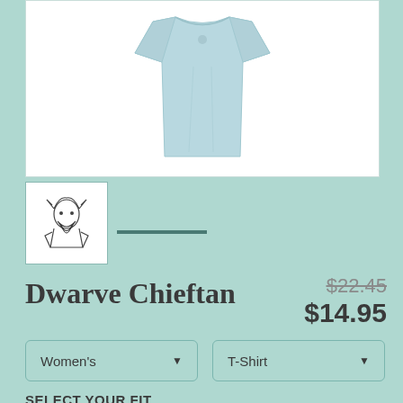[Figure (photo): Light blue/mint t-shirt product photo shown from front, partially cropped, white background]
[Figure (photo): Small thumbnail showing a dwarf chieftan illustration (logo/design) in black and white sketch style]
Dwarve Chieftan
$22.45 (strikethrough) $14.95
Women's (dropdown) T-Shirt (dropdown)
SELECT YOUR FIT